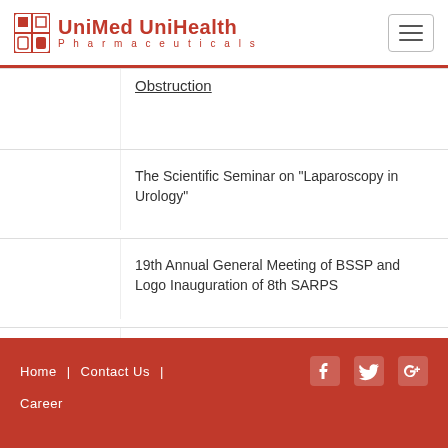UniMed UniHealth Pharmaceuticals
Obstruction
The Scientific Seminar on "Laparoscopy in Urology"
19th Annual General Meeting of BSSP and Logo Inauguration of 8th SARPS
Round Table Discussion on "Role of Tramadol in Post-operative pain management"
Home | Contact Us | Career